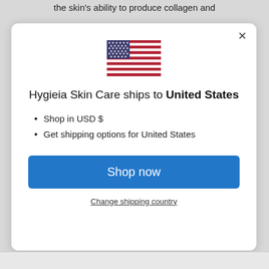the skin's ability to produce collagen and
[Figure (illustration): US flag SVG illustration]
Hygieia Skin Care ships to United States
Shop in USD $
Get shipping options for United States
Shop now
Change shipping country